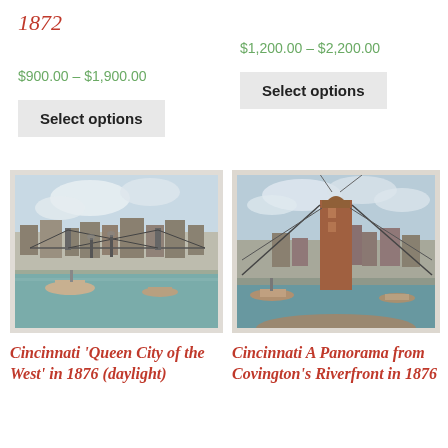1872
$900.00 – $1,900.00
Select options
$1,200.00 – $2,200.00
Select options
[Figure (illustration): Historical lithograph of Cincinnati riverfront with bridge and steamboats, 1876 daylight view]
[Figure (illustration): Historical lithograph of Cincinnati panorama from Covington riverfront showing bridge tower construction, 1876]
Cincinnati 'Queen City of the West' in 1876 (daylight)
Cincinnati A Panorama from Covington's Riverfront in 1876